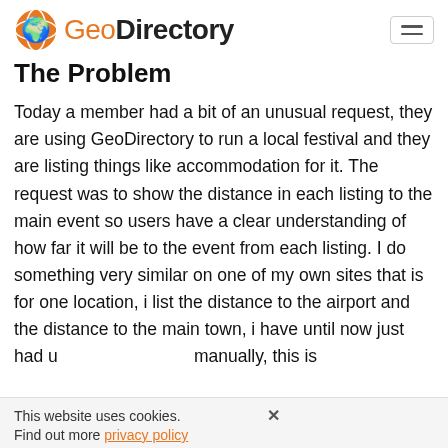GeoDirectory
The Problem
Today a member had a bit of an unusual request, they are using GeoDirectory to run a local festival and they are listing things like accommodation for it. The request was to show the distance in each listing to the main event so users have a clear understanding of how far it will be to the event from each listing. I do something very similar on one of my own sites that is for one location, i list the distance to the airport and the distance to the main town, i have until now just had u manually, this is
This website uses cookies. Find out more privacy policy